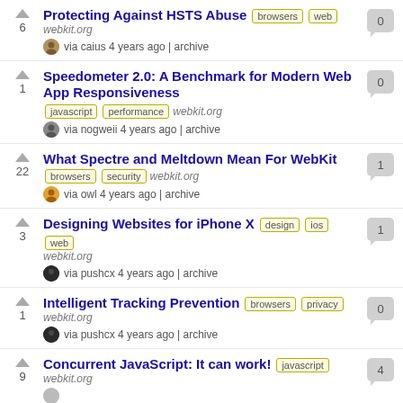Protecting Against HSTS Abuse [browsers] [web] webkit.org via caius 4 years ago | archive — 0 comments, 6 votes
Speedometer 2.0: A Benchmark for Modern Web App Responsiveness [javascript] [performance] webkit.org via nogweii 4 years ago | archive — 0 comments, 1 vote
What Spectre and Meltdown Mean For WebKit [browsers] [security] webkit.org via owl 4 years ago | archive — 1 comment, 22 votes
Designing Websites for iPhone X [design] [ios] [web] webkit.org via pushcx 4 years ago | archive — 1 comment, 3 votes
Intelligent Tracking Prevention [browsers] [privacy] webkit.org via pushcx 4 years ago | archive — 0 comments, 1 vote
Concurrent JavaScript: It can work! [javascript] webkit.org — 4 comments, 9 votes